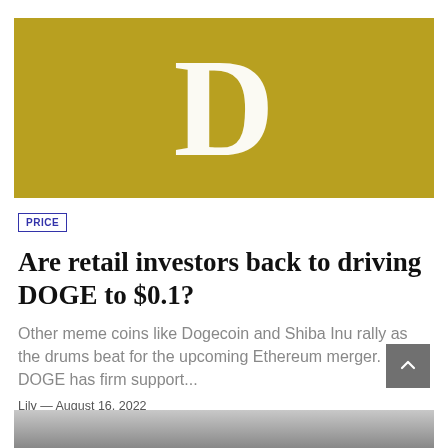[Figure (logo): Golden/olive colored square background with a large white bold letter D centered on it, representing a Dogecoin or crypto publication logo]
PRICE
Are retail investors back to driving DOGE to $0.1?
Other meme coins like Dogecoin and Shiba Inu rally as the drums beat for the upcoming Ethereum merger. DOGE has firm support...
Lily — August 16, 2022
[Figure (photo): Partially visible grayscale photo at the bottom of the page]